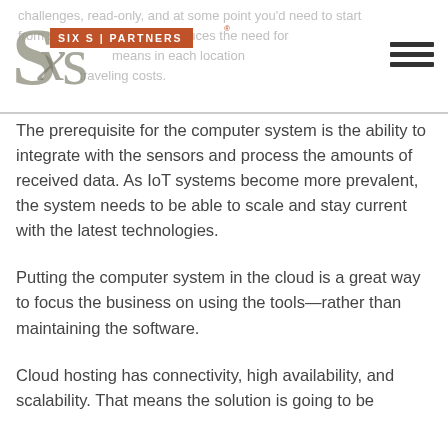Six S Partners logo header with navigation
The prerequisite for the computer system is the ability to integrate with the sensors and process the amounts of received data. As IoT systems become more prevalent, the system needs to be able to scale and stay current with the latest technologies.
Putting the computer system in the cloud is a great way to focus the business on using the tools—rather than maintaining the software.
Cloud hosting has connectivity, high availability, and scalability. That means the solution is going to be